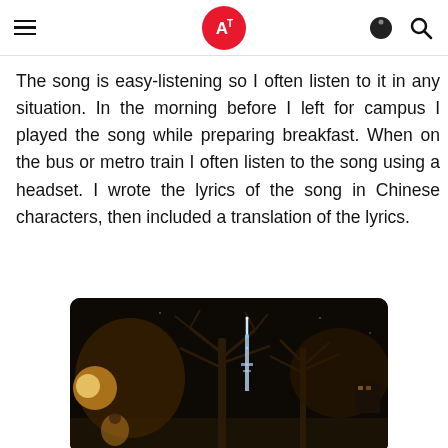AT logo header with navigation icons
The song is easy-listening so I often listen to it in any situation. In the morning before I left for campus I played the song while preparing breakfast. When on the bus or metro train I often listen to the song using a headset. I wrote the lyrics of the song in Chinese characters, then included a translation of the lyrics.
[Figure (photo): Nighttime outdoor photo showing a tall illuminated tower (resembling a communications tower) lit in blue/white, surrounded by bare winter trees with orange ambient lighting, taken in a park or urban setting.]